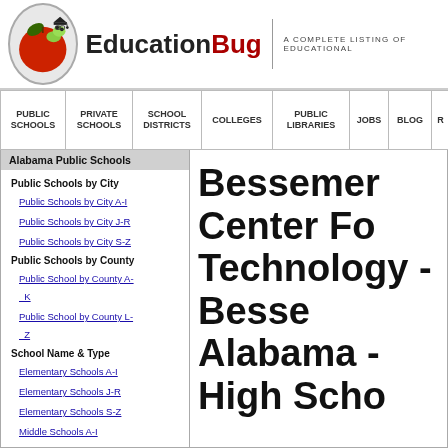EducationBug - A Complete Listing of Educational...
PUBLIC SCHOOLS | PRIVATE SCHOOLS | SCHOOL DISTRICTS | COLLEGES | PUBLIC LIBRARIES | JOBS | BLOG | R
Alabama Public Schools
Public Schools by City
Public Schools by City A-I
Public Schools by City J-R
Public Schools by City S-Z
Public Schools by County
Public School by County A-K
Public School by County L-Z
School Name & Type
Elementary Schools A-I
Elementary Schools J-R
Elementary Schools S-Z
Middle Schools A-I
Middle Schools J-R
Middle Schools S-Z
Bessemer Center Fo Technology - Bessem Alabama - High Scho